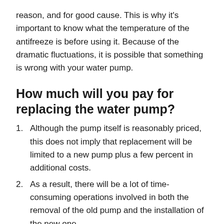reason, and for good cause. This is why it's important to know what the temperature of the antifreeze is before using it. Because of the dramatic fluctuations, it is possible that something is wrong with your water pump.
How much will you pay for replacing the water pump?
Although the pump itself is reasonably priced, this does not imply that replacement will be limited to a new pump plus a few percent in additional costs.
As a result, there will be a lot of time-consuming operations involved in both the removal of the old pump and the installation of the new one.